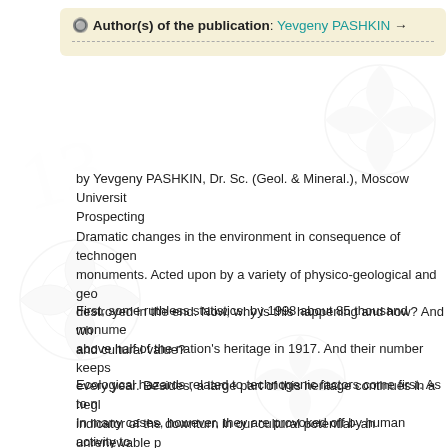Author(s) of the publication: Yevgeny PASHKIN →
by Yevgeny PASHKIN, Dr. Sc. (Geol. & Mineral.), Moscow University Prospecting
Dramatic changes in the environment in consequence of technogenic monuments. Acted upon by a variety of physico-geological and geo destroyed in the end. Now, why is this happening and how? And wh and cultural value?
First, some ruthless statistics: by 1998 about 85 thousand monume above half of the nation's heritage in 1917. And their number keeps every year. Besides, a large part of this heritage continues in a neg indicator of the downturn in our cultural potential- an unrenewable p
Ecological hazards related to technogenic factors come first. As to n In many cases, however, they are provoked off by human activity to destruction of large structures. This happened to the Pechora Mona banks, nearly a kilometer south of the present sanctuary. In 1597 th Volga as far as 100 meters and more. The bad destruction caused b restored on the old site.